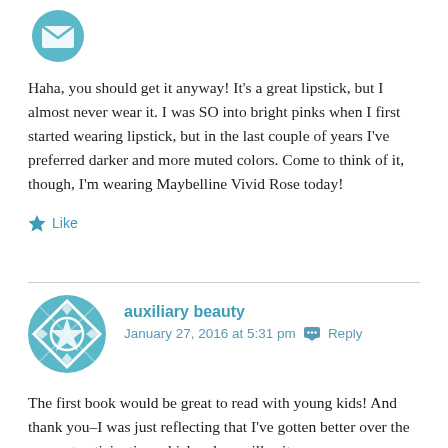[Figure (logo): Teal/turquoise decorative avatar icon at top of first comment]
Haha, you should get it anyway! It's a great lipstick, but I almost never wear it. I was SO into bright pinks when I first started wearing lipstick, but in the last couple of years I've preferred darker and more muted colors. Come to think of it, though, I'm wearing Maybelline Vivid Rose today!
Like
[Figure (logo): Teal/turquoise geometric patterned avatar icon for auxiliary beauty]
auxiliary beauty
January 27, 2016 at 5:31 pm   Reply
The first book would be great to read with young kids! And thank you–I was just reflecting that I've gotten better over the years at anticipating which colors will suit me.